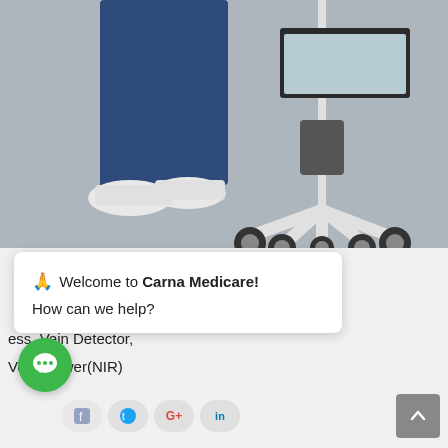[Figure (photo): Photo of a person in blue scrubs and white sneakers standing next to a white medical IV/equipment stand on wheels with a clear tray/basket on top, against a grey background.]
🙏 Welcome to Carna Medicare!
How can we help?
...ess, Vein Detector, Vein Viewer(NIR)
[Figure (other): Green circular chat bubble button]
[Figure (other): Social media icons: Facebook, Twitter, Google+, LinkedIn]
[Figure (other): Grey back-to-top arrow button]